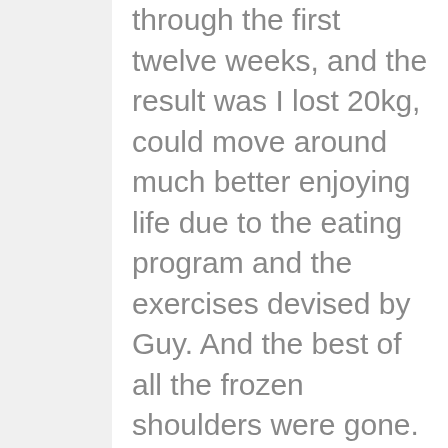through the first twelve weeks, and the result was I lost 20kg, could move around much better enjoying life due to the eating program and the exercises devised by Guy. And the best of all the frozen shoulders were gone.

The program of exercises is varied, I was at the studio one day, at the beach the next, the park the next doing all sorts of movements and exercises, and all the time